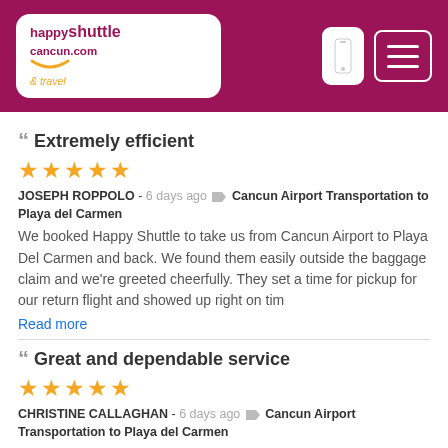happyshuttlecancun.com & travel — navigation header
Extremely efficient
★★★★★
JOSEPH ROPPOLO - 6 days ago 🏷 Cancun Airport Transportation to Playa del Carmen
We booked Happy Shuttle to take us from Cancun Airport to Playa Del Carmen and back. We found them easily outside the baggage claim and we're greeted cheerfully. They set a time for pickup for our return flight and showed up right on tim
Read more
Great and dependable service
★★★★★
CHRISTINE CALLAGHAN - 6 days ago 🏷 Cancun Airport Transportation to Playa del Carmen
They were prompt, professional and polite. They were also pleasant.